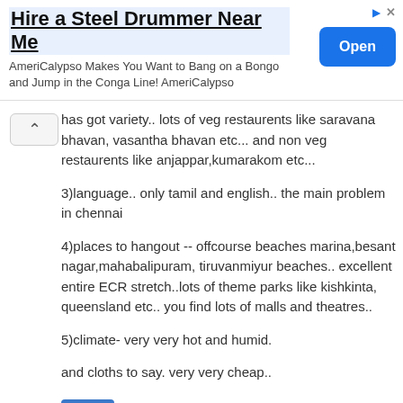[Figure (screenshot): Advertisement banner: 'Hire a Steel Drummer Near Me' with Open button and AmeriCalypso subtitle]
has got variety.. lots of veg restaurents like saravana bhavan, vasantha bhavan etc... and non veg restaurents like anjappar,kumarakom etc...
3)language.. only tamil and english.. the main problem in chennai
4)places to hangout -- offcourse beaches marina,besant nagar,mahabalipuram, tiruvanmiyur beaches.. excellent entire ECR stretch..lots of theme parks like kishkinta, queensland etc.. you find lots of malls and theatres..
5)climate- very very hot and humid.
and cloths to say. very very cheap..
Reply
SENTHIL RAJ